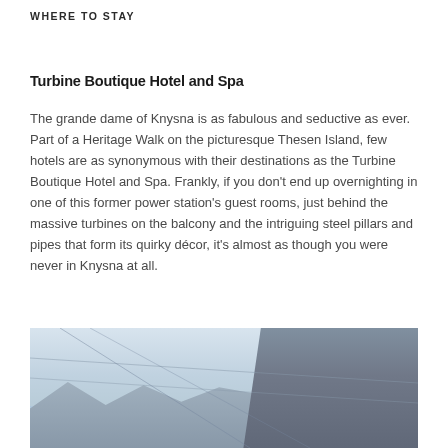WHERE TO STAY
Turbine Boutique Hotel and Spa
The grande dame of Knysna is as fabulous and seductive as ever. Part of a Heritage Walk on the picturesque Thesen Island, few hotels are as synonymous with their destinations as the Turbine Boutique Hotel and Spa. Frankly, if you don't end up overnighting in one of this former power station's guest rooms, just behind the massive turbines on the balcony and the intriguing steel pillars and pipes that form its quirky décor, it's almost as though you were never in Knysna at all.
[Figure (photo): Exterior view of the Turbine Boutique Hotel on Thesen Island, Knysna, showing roof structures and multi-storey building with balconies against a partly cloudy sky]